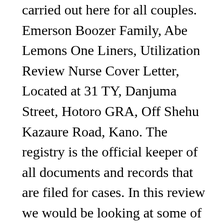carried out here for all couples. Emerson Boozer Family, Abe Lemons One Liners, Utilization Review Nurse Cover Letter, Located at 31 TY, Danjuma Street, Hotoro GRA, Off Shehu Kazaure Road, Kano. The registry is the official keeper of all documents and records that are filed for cases. In this review we would be looking at some of their major functions and objectives as a government Agency. Moormans Feed Dealer Near Me, This is the Federal Marriage Registry authorized by the Ministry of interior in Benin City, Edo State. Home » Ibadan, Oyo, Nigeria » federal marriage registry requirements, Address: 13, Lekan Alabii Close,abayomi,iwo Rd, Ibadan, Oyo, Nigeria, Federal tax Revenue Collection Agency more,